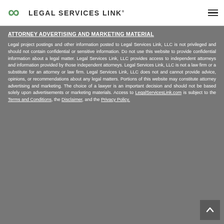[Figure (logo): Legal Services Link logo with green chain-link icon and bold uppercase text]
ATTORNEY ADVERTISING AND MARKETING MATERIAL
Legal project postings and other information posted to Legal Services Link, LLC is not privileged and should not contain confidential or sensitive information. Do not use this website to provide confidential information about a legal matter. Legal Services Link, LLC provides access to independent attorneys and information provided by those independent attorneys. Legal Services Link, LLC is not a law firm or a substitute for an attorney or law firm. Legal Services Link, LLC does not and cannot provide advice, opinions, or recommendations about any legal matters. Portions of this website may constitute attorney advertising and marketing. The choice of a lawyer is an important decision and should not be based solely upon advertisements or marketing materials. Access to LegalServicesLink.com is subject to the Terms and Conditions, the Disclaimer, and the Privacy Policy.